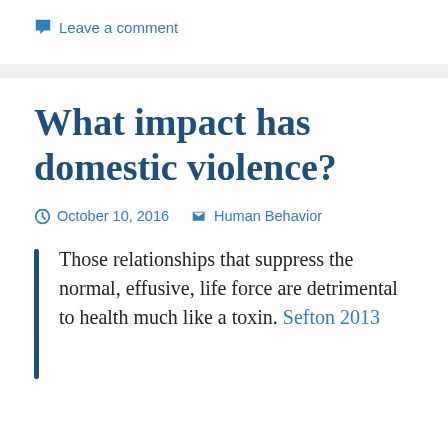Leave a comment
What impact has domestic violence?
October 10, 2016   Human Behavior
Those relationships that suppress the normal, effusive, life force are detrimental to health much like a toxin. Sefton 2013